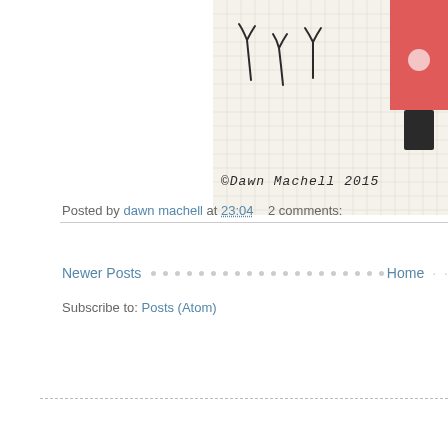[Figure (illustration): Cropped illustration on grid paper background showing hand-drawn plant/tree stems and copyright text '©Dawn Machell 2015'. A red rectangle with white circle and black rectangle is visible on the right edge.]
Posted by dawn machell at 23:04   2 comments:
Newer Posts  . . . . . . . . . . . . . . . . . . . . . .  Home  . .
Subscribe to: Posts (Atom)